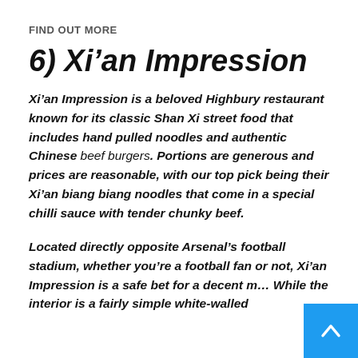FIND OUT MORE
6) Xi’an Impression
Xi’an Impression is a beloved Highbury restaurant known for its classic Shan Xi street food that includes hand pulled noodles and authentic Chinese beef burgers. Portions are generous and prices are reasonable, with our top pick being their Xi’an biang biang noodles that come in a special chilli sauce with tender chunky beef.
Located directly opposite Arsenal’s football stadium, whether you’re a football fan or not, Xi’an Impression is a safe bet for a decent me... While the interior is a fairly simple white-walled